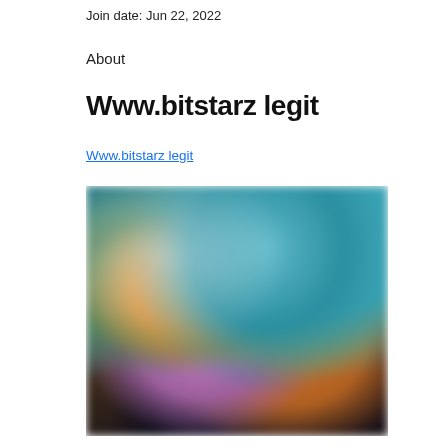Join date: Jun 22, 2022
About
Www.bitstarz legit
Www.bitstarz legit
[Figure (screenshot): Blurred screenshot of what appears to be an online casino website (bitstarz) showing game thumbnails with colorful characters and a dark background]